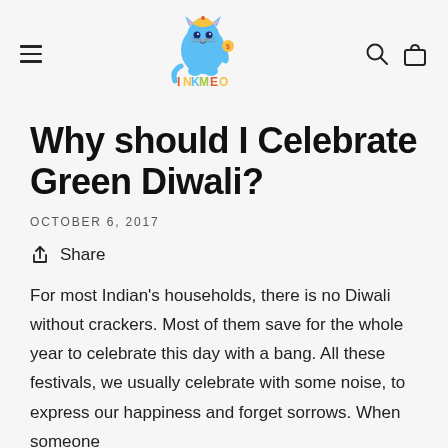[Figure (logo): InkMeo logo: a blue cartoon cat character holding something, with the word INKMEO in colorful letters below]
Why should I Celebrate Green Diwali?
OCTOBER 6, 2017
Share
For most Indian's households, there is no Diwali without crackers. Most of them save for the whole year to celebrate this day with a bang. All these festivals, we usually celebrate with some noise, to express our happiness and forget sorrows. When someone